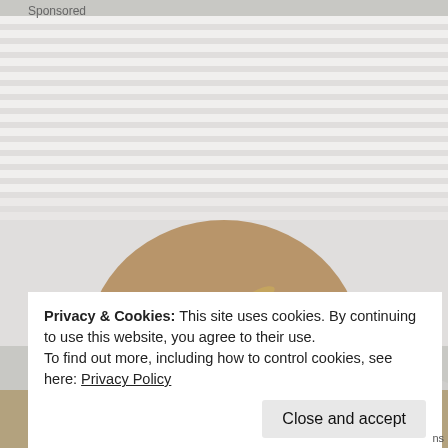Sponsored
[Figure (photo): A hand holding a glass jar filled with a creamy smoothie topped with oats and chopped nuts, photographed against a white window blind background with a soft cushion visible on the right.]
Privacy & Cookies: This site uses cookies. By continuing to use this website, you agree to their use.
To find out more, including how to control cookies, see here: Privacy Policy
Close and accept